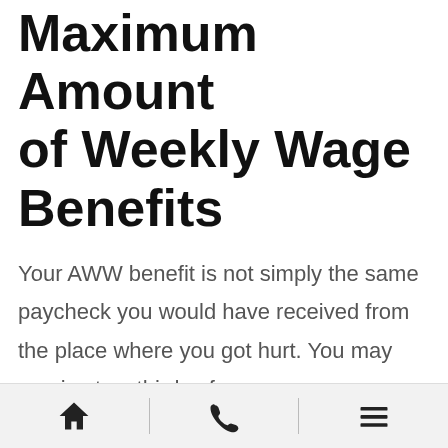Maximum Amount of Weekly Wage Benefits
Your AWW benefit is not simply the same paycheck you would have received from the place where you got hurt. You may receive two-thirds of your average pre-injury weekly income. The North Carolina Industrial Commission only looks at wages from the job where you were hurt.
This amount cannot exceed $944 per work, according to the Industrial Commission's maximum weekly rates